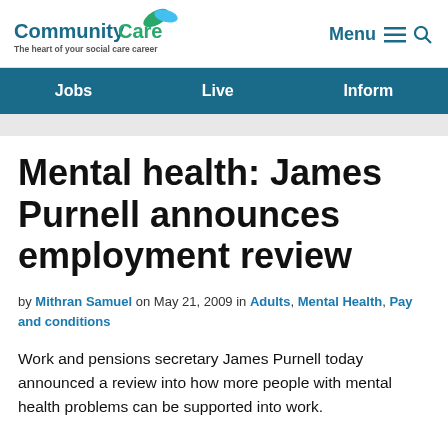CommunityCare – The heart of your social care career | Menu | Search
Jobs | Live | Inform
Mental health: James Purnell announces employment review
by Mithran Samuel on May 21, 2009 in Adults, Mental Health, Pay and conditions
Work and pensions secretary James Purnell today announced a review into how more people with mental health problems can be supported into work.